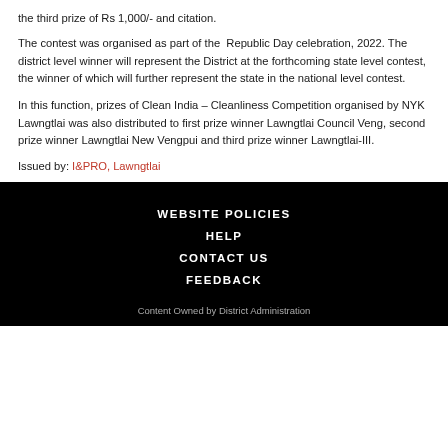the third prize of Rs 1,000/- and citation.
The contest was organised as part of the Republic Day celebration, 2022. The district level winner will represent the District at the forthcoming state level contest, the winner of which will further represent the state in the national level contest.
In this function, prizes of Clean India – Cleanliness Competition organised by NYK Lawngtlai was also distributed to first prize winner Lawngtlai Council Veng, second prize winner Lawngtlai New Vengpui and third prize winner Lawngtlai-III.
Issued by: I&PRO, Lawngtlai
WEBSITE POLICIES
HELP
CONTACT US
FEEDBACK
Content Owned by District Administration